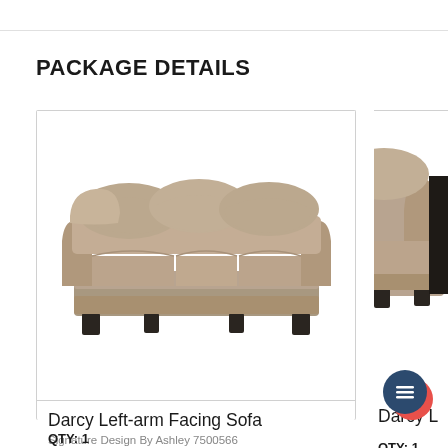PACKAGE DETAILS
[Figure (photo): Darcy Left-arm Facing Sofa — a grey/taupe upholstered sofa with three seat cushions and back pillows, dark wooden legs, photographed on white background]
Darcy Left-arm Facing Sofa
Signature Design By Ashley 7500566
QTY:  1
[Figure (photo): Partial view of a second Darcy sofa/loveseat, showing the arm and seat in grey/taupe upholstery with dark wooden legs, cropped on the right edge]
Darcy L
QTY:  1